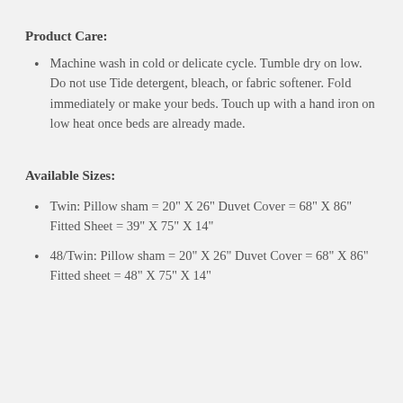Product Care:
Machine wash in cold or delicate cycle. Tumble dry on low. Do not use Tide detergent, bleach, or fabric softener. Fold immediately or make your beds. Touch up with a hand iron on low heat once beds are already made.
Available Sizes:
Twin: Pillow sham = 20" X 26" Duvet Cover = 68" X 86" Fitted Sheet = 39" X 75" X 14"
48/Twin: Pillow sham = 20" X 26" Duvet Cover = 68" X 86" Fitted sheet = 48" X 75" X 14"